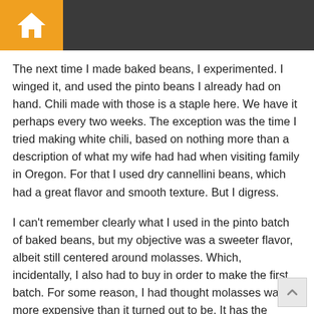Home
The next time I made baked beans, I experimented. I winged it, and used the pinto beans I already had on hand. Chili made with those is a staple here. We have it perhaps every two weeks. The exception was the time I tried making white chili, based on nothing more than a description of what my wife had had when visiting family in Oregon. For that I used dry cannellini beans, which had a great flavor and smooth texture. But I digress.
I can't remember clearly what I used in the pinto batch of baked beans, but my objective was a sweeter flavor, albeit still centered around molasses. Which, incidentally, I also had to buy in order to make the first batch. For some reason, I had thought molasses was far more expensive than it turned out to be. It has the benefit of long shelf life. Not to mention one container of it covering a number of batches of beans or whatnot. Haven't yet explored the